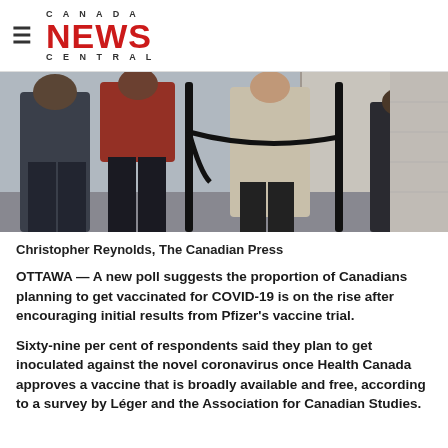CANADA NEWS CENTRAL
[Figure (photo): People walking on a street in winter clothing, standing near a velvet rope barrier outside a building]
Christopher Reynolds, The Canadian Press
OTTAWA — A new poll suggests the proportion of Canadians planning to get vaccinated for COVID-19 is on the rise after encouraging initial results from Pfizer's vaccine trial.
Sixty-nine per cent of respondents said they plan to get inoculated against the novel coronavirus once Health Canada approves a vaccine that is broadly available and free, according to a survey by Léger and the Association for Canadian Studies.